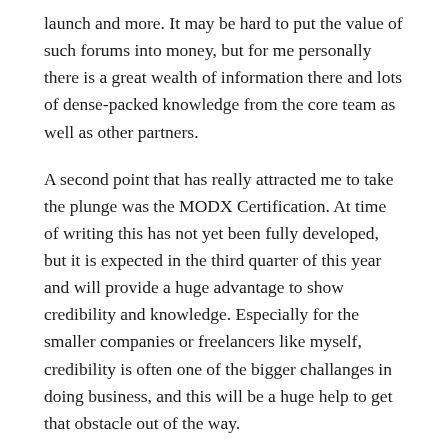launch and more. It may be hard to put the value of such forums into money, but for me personally there is a great wealth of information there and lots of dense-packed knowledge from the core team as well as other partners.
A second point that has really attracted me to take the plunge was the MODX Certification. At time of writing this has not yet been fully developed, but it is expected in the third quarter of this year and will provide a huge advantage to show credibility and knowledge. Especially for the smaller companies or freelancers like myself, credibility is often one of the bigger challanges in doing business, and this will be a huge help to get that obstacle out of the way.
Three months later - was it worth it?